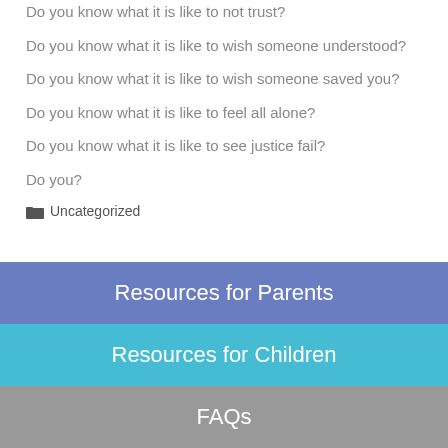Do you know what it is like to not trust?
Do you know what it is like to wish someone understood?
Do you know what it is like to wish someone saved you?
Do you know what it is like to feel all alone?
Do you know what it is like to see justice fail?
Do you?
Uncategorized
Resources for Parents
Resources for Children
FAQs